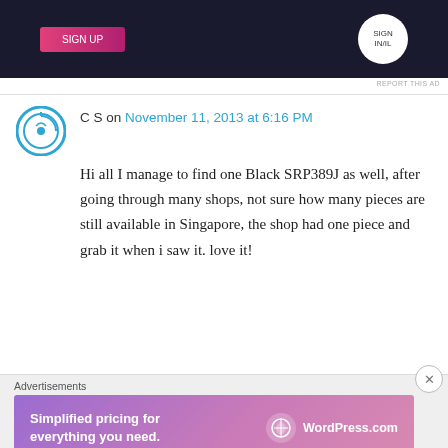[Figure (screenshot): Top advertisement banner with dark background, pink button, and circular logo]
REPORT THIS AD
C S on November 11, 2013 at 6:16 PM
Hi all I manage to find one Black SRP389J as well, after going through many shops, not sure how many pieces are still available in Singapore, the shop had one piece and grab it when i saw it. love it!
★ Like
↳ Reply
Advertisements
[Figure (screenshot): WordPress.com advertisement banner: Simplified pricing for everything you need.]